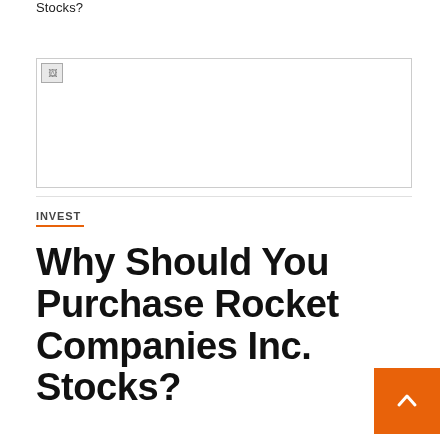Stocks?
[Figure (photo): A broken/missing image placeholder represented by a small broken image icon in the top-left of a bordered rectangle]
INVEST
Why Should You Purchase Rocket Companies Inc. Stocks?